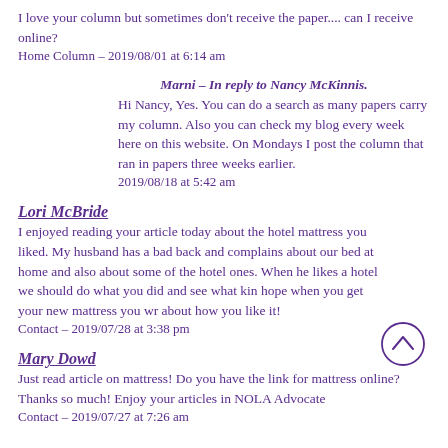I love your column but sometimes don't receive the paper.... can I receive online?
Home Column – 2019/08/01 at 6:14 am
Marni – In reply to Nancy McKinnis.
Hi Nancy, Yes. You can do a search as many papers carry my column. Also you can check my blog every week here on this website. On Mondays I post the column that ran in papers three weeks earlier.
2019/08/18 at 5:42 am
Lori McBride
I enjoyed reading your article today about the hotel mattress you liked. My husband has a bad back and complains about our bed at home and also about some of the hotel ones. When he likes a hotel we should do what you did and see what kin hope when you get your new mattress you wr about how you like it!
Contact – 2019/07/28 at 3:38 pm
Mary Dowd
Just read article on mattress! Do you have the link for mattress online? Thanks so much! Enjoy your articles in NOLA Advocate
Contact – 2019/07/27 at 7:26 am